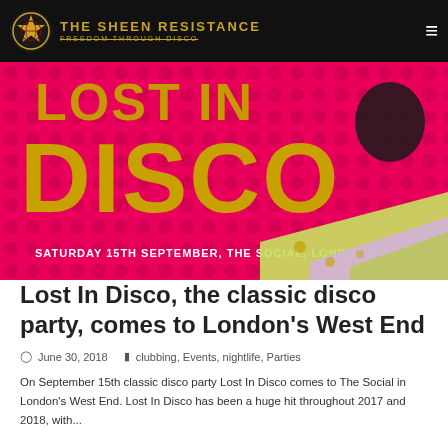THE SHEEN RESISTANCE FREEDOM THROUGH DISCO
[Figure (photo): Promotional poster for Lost In Disco event – hot pink background with large golden 'DISCO' text, text reading 'SATURDAY 15TH SEPTEMBER, THE SOCIAL, LONDON W1', and a person with dark hair on the right side.]
Lost In Disco, the classic disco party, comes to London's West End
June 30, 2018   clubbing, Events, nightlife, Parties
On September 15th classic disco party Lost In Disco comes to The Social in London's West End. Lost In Disco has been a huge hit throughout 2017 and 2018, with...